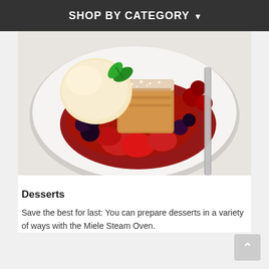SHOP BY CATEGORY ▾
[Figure (photo): A dessert plate with a scoop of vanilla ice cream, a piece of cake dusted with powdered sugar, and mixed berries (strawberries, blackberries, cherries) in a red sauce, garnished with a mint leaf, with a fork visible to the right.]
Desserts
Save the best for last: You can prepare desserts in a variety of ways with the Miele Steam Oven.